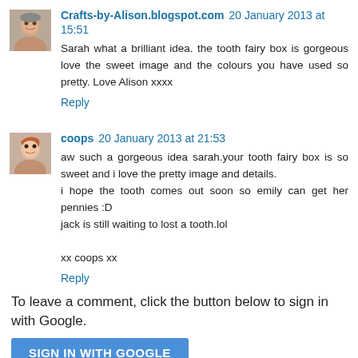[Figure (photo): Avatar photo of blog commenter Crafts-by-Alison, older woman with short hair]
Crafts-by-Alison.blogspot.com 20 January 2013 at 15:51
Sarah what a brilliant idea. the tooth fairy box is gorgeous love the sweet image and the colours you have used so pretty. Love Alison xxxx
Reply
[Figure (photo): Avatar photo of blog commenter coops, young woman with reddish hair]
coops 20 January 2013 at 21:53
aw such a gorgeous idea sarah.your tooth fairy box is so sweet and i love the pretty image and details.
i hope the tooth comes out soon so emily can get her pennies :D
jack is still waiting to lost a tooth.lol

xx coops xx
Reply
To leave a comment, click the button below to sign in with Google.
SIGN IN WITH GOOGLE